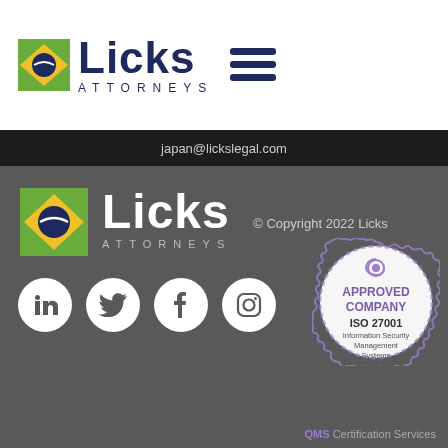[Figure (logo): Licks Attorneys logo with Brazilian flag icon, dark blue text, top navigation bar with hamburger menu]
japan@lickslegal.com
[Figure (logo): Licks Attorneys logo with Brazilian flag icon and white text on dark grey footer background]
© Copyright 2022 Licks
[Figure (infographic): Social media icons: LinkedIn, Twitter, Facebook, Instagram in white circles; ISO 27001 Approved Company QMS Certification Services badge]
QMS Certification Services